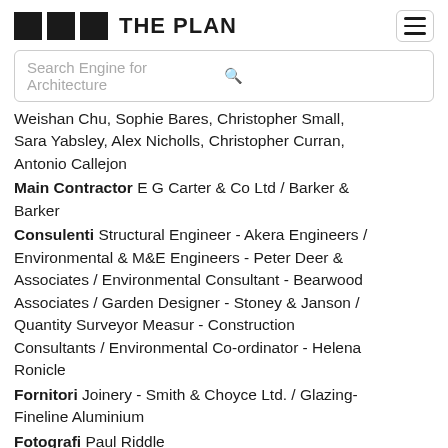THE PLAN
Search Engine for Architecture
Weishan Chu, Sophie Bares, Christopher Small, Sara Yabsley, Alex Nicholls, Christopher Curran, Antonio Callejon
Main Contractor E G Carter & Co Ltd / Barker & Barker
Consulenti Structural Engineer - Akera Engineers / Environmental & M&E Engineers - Peter Deer & Associates / Environmental Consultant - Bearwood Associates / Garden Designer - Stoney & Janson / Quantity Surveyor Measur - Construction Consultants / Environmental Co-ordinator - Helena Ronicle
Fornitori Joinery - Smith & Choyce Ltd. / Glazing- Fineline Aluminium
Fotografi Paul Riddle